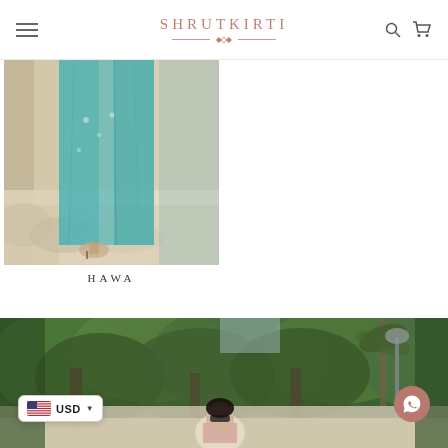SHRUTKIRTI
[Figure (photo): Fashion photo showing teal/turquoise draped fabric ensemble (HAWA collection) on a model seated on cushions in a warm beige interior setting]
HAWA
[Figure (photo): Lifestyle outdoor photo showing a woman in sunglasses standing among lush green tropical trees/garden setting, partially visible]
USD
WhatsApp contact button